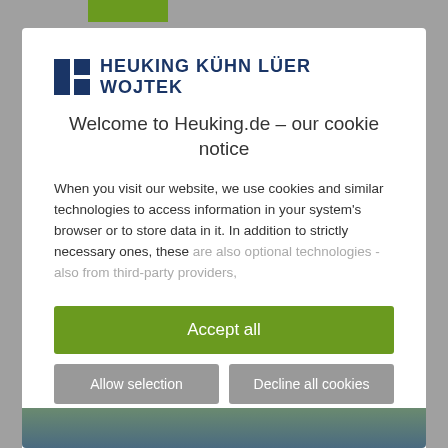[Figure (logo): Heuking Kühn Lüer Wojtek law firm logo with blue square icon and text]
Welcome to Heuking.de – our cookie notice
When you visit our website, we use cookies and similar technologies to access information in your system's browser or to store data in it. In addition to strictly necessary ones, these are also optional technologies - also from third-party providers,
Accept all
Allow selection
Decline all cookies
Necessary  Preferences  Statistics  Marketing
Show details